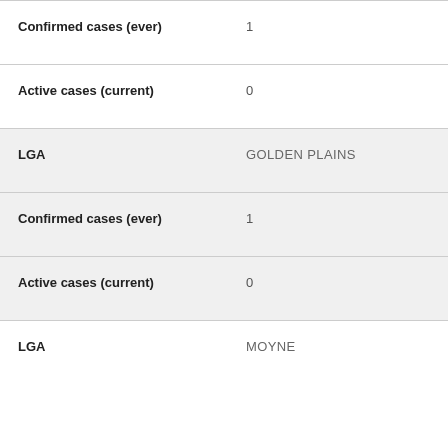| Field | Value |
| --- | --- |
| Confirmed cases (ever) | 1 |
| Active cases (current) | 0 |
| LGA | GOLDEN PLAINS |
| Confirmed cases (ever) | 1 |
| Active cases (current) | 0 |
| LGA | MOYNE |